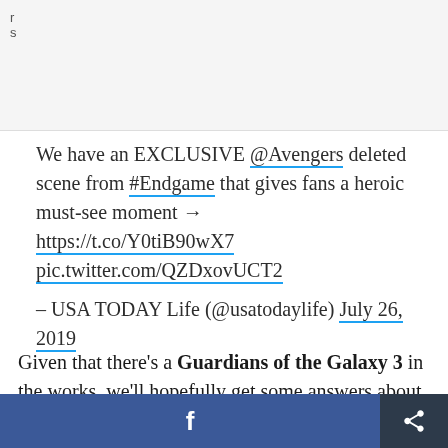We have an EXCLUSIVE @Avengers deleted scene from #Endgame that gives fans a heroic must-see moment → https://t.co/Y0tiB90wX7 pic.twitter.com/QZDxovUCT2
– USA TODAY Life (@usatodaylife) July 26, 2019
Given that there's a Guardians of the Galaxy 3 in the works, we'll hopefully get some answers about
Facebook share | Share